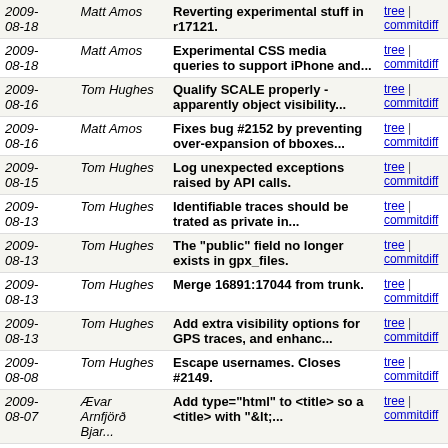| Date | Author | Message | Links |
| --- | --- | --- | --- |
| 2009-08-18 | Matt Amos | Reverting experimental stuff in r17121. | tree | commitdiff |
| 2009-08-18 | Matt Amos | Experimental CSS media queries to support iPhone and... | tree | commitdiff |
| 2009-08-16 | Tom Hughes | Qualify SCALE properly - apparently object visibility... | tree | commitdiff |
| 2009-08-16 | Matt Amos | Fixes bug #2152 by preventing over-expansion of bboxes... | tree | commitdiff |
| 2009-08-15 | Tom Hughes | Log unexpected exceptions raised by API calls. | tree | commitdiff |
| 2009-08-13 | Tom Hughes | Identifiable traces should be trated as private in... | tree | commitdiff |
| 2009-08-13 | Tom Hughes | The "public" field no longer exists in gpx_files. | tree | commitdiff |
| 2009-08-13 | Tom Hughes | Merge 16891:17044 from trunk. | tree | commitdiff |
| 2009-08-13 | Tom Hughes | Add extra visibility options for GPS traces, and enhanc... | tree | commitdiff |
| 2009-08-08 | Tom Hughes | Escape usernames. Closes #2149. | tree | commitdiff |
| 2009-08-07 | Ævar Arnfjörð Bjar... | Add type="html" to <title> so a <title> with "&lt;... | tree | commitdiff |
| 2009-08-07 | Ævar Arnfjörð Bjar... | Make the diary RSS feed translatable | tree | commitdiff |
| 2009- | Ævar | Include the changeset comment | tree | commitdiff |